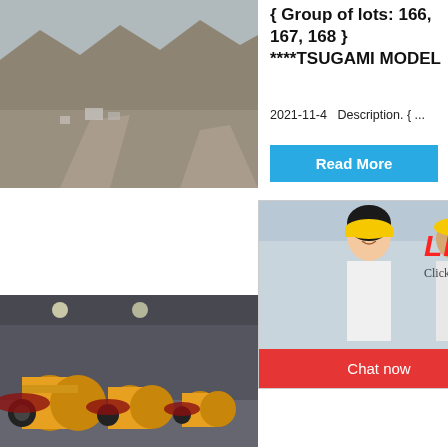[Figure (photo): Aerial view of a mining quarry or open-pit mine with heavy machinery and dusty terrain]
{ Group of lots: 166, 167, 168 } ****TSUGAMI MODEL
2021-11-4   Description. { ...
Read More
[Figure (photo): Live chat popup overlay showing workers in yellow hard hats, with LIVE CHAT heading in red italic, subtitle 'Click for a Free Consultation', and two buttons: Chat now (red) and Chat later (dark)]
hour online
[Figure (photo): Industrial ball mill machines in yellow color inside a factory/warehouse]
Produc
CNC Pre
[Figure (photo): Industrial jaw crusher machine in grey/silver color]
Click me to chat>>
Read
Enquiry
limingjlmofen